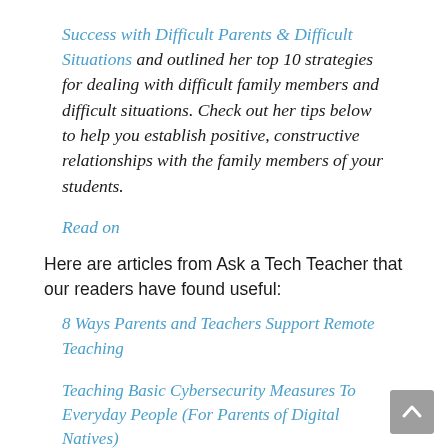Success with Difficult Parents & Difficult Situations and outlined her top 10 strategies for dealing with difficult family members and difficult situations. Check out her tips below to help you establish positive, constructive relationships with the family members of your students.
Read on
Here are articles from Ask a Tech Teacher that our readers have found useful:
8 Ways Parents and Teachers Support Remote Teaching
Teaching Basic Cybersecurity Measures To Everyday People (For Parents of Digital Natives)
Questions Parents Ask
How to Run a Parent Class
How Do Non-Techie Parents Handle the Increasing